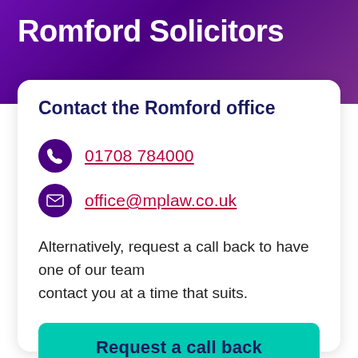Romford Solicitors
Contact the Romford office
01708 784000
office@mplaw.co.uk
Alternatively, request a call back to have one of our team contact you at a time that suits.
Request a call back